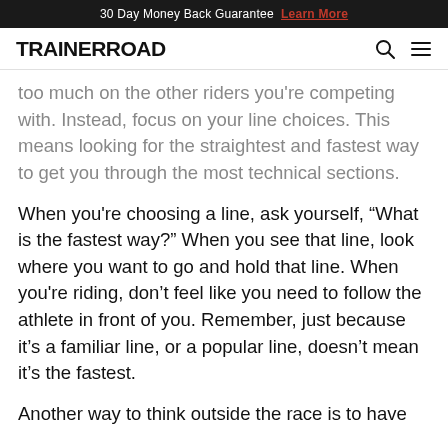30 Day Money Back Guarantee  Learn More
TRAINERROAD
too much on the other riders you're competing with. Instead, focus on your line choices. This means looking for the straightest and fastest way to get you through the most technical sections.
When you're choosing a line, ask yourself, “What is the fastest way?” When you see that line, look where you want to go and hold that line. When you're riding, don’t feel like you need to follow the athlete in front of you. Remember, just because it’s a familiar line, or a popular line, doesn’t mean it’s the fastest.
Another way to think outside the race is to have...